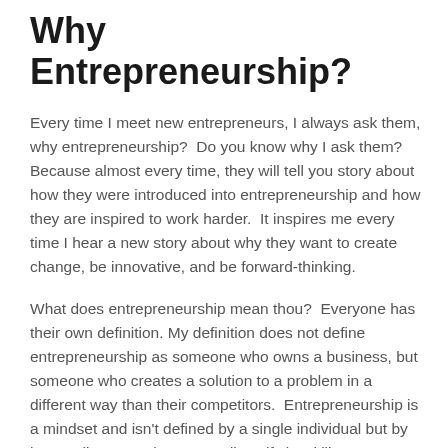Why Entrepreneurship?
Every time I meet new entrepreneurs, I always ask them, why entrepreneurship?  Do you know why I ask them?  Because almost every time, they will tell you story about how they were introduced into entrepreneurship and how they are inspired to work harder.  It inspires me every time I hear a new story about why they want to create change, be innovative, and be forward-thinking.
What does entrepreneurship mean thou?  Everyone has their own definition. My definition does not define entrepreneurship as someone who owns a business, but someone who creates a solution to a problem in a different way than their competitors.  Entrepreneurship is a mindset and isn't defined by a single individual but by how well a team chooses to diversify its skill sets.
Sharing and Collaboration